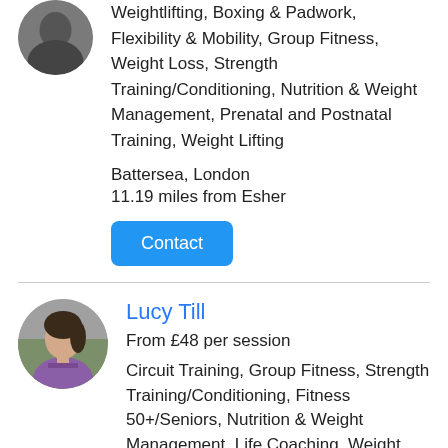[Figure (photo): Circular avatar photo of a personal trainer, partially cropped at top]
Weightlifting, Boxing & Padwork, Flexibility & Mobility, Group Fitness, Weight Loss, Strength Training/Conditioning, Nutrition & Weight Management, Prenatal and Postnatal Training, Weight Lifting
Battersea, London
11.19 miles from Esher
Contact
[Figure (photo): Circular avatar photo of Lucy Till, a female personal trainer wearing a purple top]
Lucy Till
From £48 per session
Circuit Training, Group Fitness, Strength Training/Conditioning, Fitness 50+/Seniors, Nutrition & Weight Management, Life Coaching, Weight